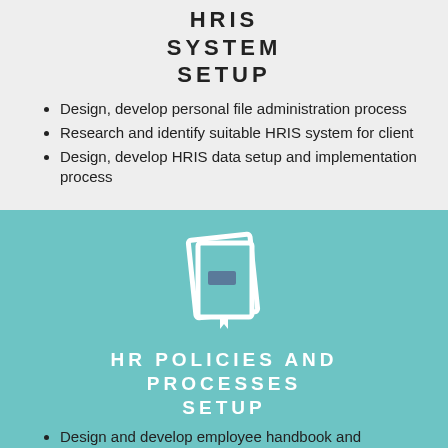HRIS SYSTEM SETUP
Design, develop personal file administration process
Research and identify suitable HRIS system for client
Design, develop HRIS data setup and implementation process
[Figure (illustration): White book/manual icon on teal background]
HR POLICIES AND PROCESSES SETUP
Design and develop employee handbook and relevant HR policies for client
Design and develop HR processes